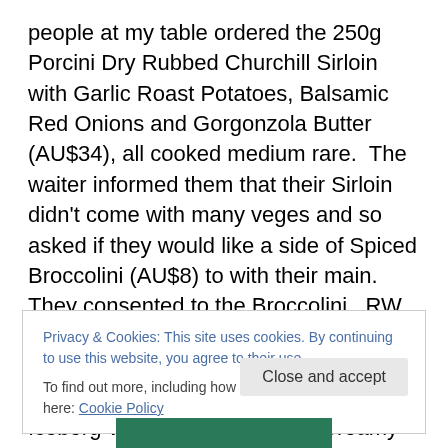people at my table ordered the 250g Porcini Dry Rubbed Churchill Sirloin with Garlic Roast Potatoes, Balsamic Red Onions and Gorgonzola Butter (AU$34), all cooked medium rare.  The waiter informed them that their Sirloin didn't come with many veges and so asked if they would like a side of Spiced Broccolini (AU$8) to with their main.  They consented to the Broccolini.  RW ordered the Roasted Barramundi with Peperonata, Olives, Zucchini and Salsa Verde for $32.  He also went with the Iceberg Wedges drizzled with Creamy Gorgonzola Dressing and Pinenuts (AU$8).  Across from me, MC ordered a main
Privacy & Cookies: This site uses cookies. By continuing to use this website, you agree to their use.
To find out more, including how to control cookies, see here: Cookie Policy
Close and accept